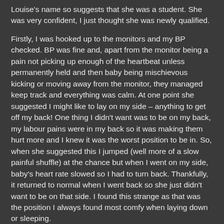Louise's name so suggests that she was a student. She was very confident, I just thought she was newly qualified.
Firstly, I was hooked up to the monitors and my BP checked. BP was fine and, apart from the monitor being a pain not picking up enough of the heartbeat unless permanently held and then baby being mischievous kicking or moving away from the monitor, they managed keep track and everything was calm. At one point she suggested I might like to lay on my side – anything to get off my back! One thing I didn't want was to be on my back, my labour pains were in my back so it was making them hurt more and I knew it was the worst position to be in. So, when she suggested this I jumped (well more of a slow painful shuffle) at the chance but when I went on my side, baby's heart rate slowed so I had to turn back. Thankfully, it returned to normal when I went back so she just didn't want to be on that side. I found this strange as that was the position I always found most comfy when laying down or sleeping.
I had originally said, and it was in my notes, that I had wanted to try the pool. I had also mentioned this when I rang the hospital from home but at no point was this mentioned